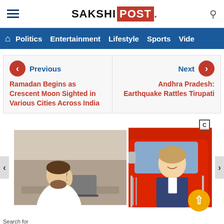SAKSHI POST
Politics  Entertainment  Lifestyle  Sports  Vide
Previous
Ramadan Begins as Crescent Moon Sighted in Various Cities Across India
Next
Andhra Pradesh: Earthquake Rattles Tirupati
[Figure (photo): Man in white shirt talking on phone at desk with laptop]
[Figure (photo): Woman truck driver smiling from red truck cab window]
Search for
1  Small Living Room Sofa
Yahoo! Search | Sponsored